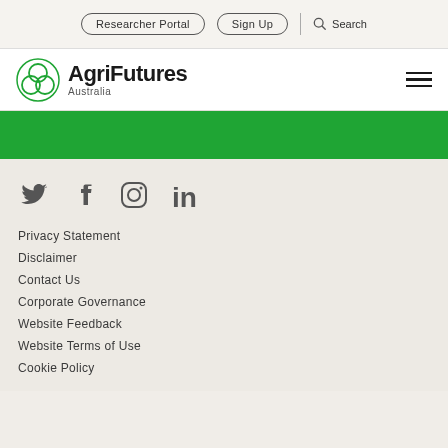Researcher Portal | Sign Up | Search
[Figure (logo): AgriFutures Australia logo with green circular overlapping leaves icon and bold text 'AgriFutures Australia']
[Figure (infographic): Green horizontal banner band]
[Figure (infographic): Social media icons: Twitter, Facebook, Instagram, LinkedIn]
Privacy Statement
Disclaimer
Contact Us
Corporate Governance
Website Feedback
Website Terms of Use
Cookie Policy